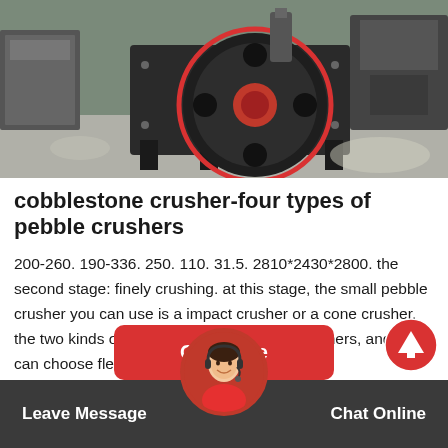[Figure (photo): Industrial jaw crusher machine with red circular flywheel highlighted, in a factory/warehouse setting with grey concrete floor. Machine is black/dark metal with red accents.]
cobblestone crusher-four types of pebble crushers
200-260. 190-336. 250. 110. 31.5. 2810*2430*2800. the second stage: finely crushing. at this stage, the small pebble crusher you can use is a impact crusher or a cone crusher. the two kinds of equipments are all finely crushers, and users can choose flexibly.
Get Price
Leave Message   Chat Online